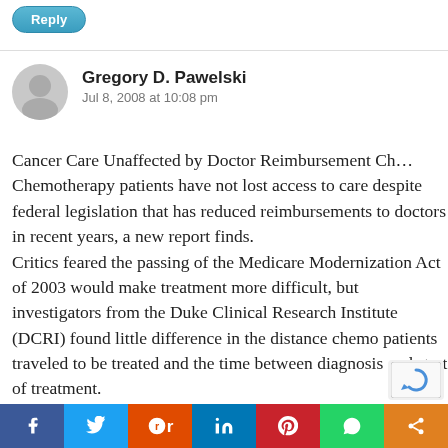Reply
Gregory D. Pawelski
Jul 8, 2008 at 10:08 pm
Cancer Care Unaffected by Doctor Reimbursement Ch... Chemotherapy patients have not lost access to care despite federal legislation that has reduced reimbursements to doctors in recent years, a new report finds. Critics feared the passing of the Medicare Modernization Act of 2003 would make treatment more difficult, but investigators from the Duke Clinical Research Institute (DCRI) found little difference in the distance chemo patients traveled to be treated and the time between diagnosis and start of treatment.
[Figure (other): Social share bar with icons for Facebook, Twitter, Reddit, LinkedIn, Pinterest, WhatsApp, and a share icon]